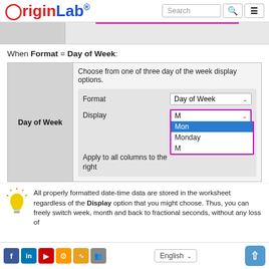OriginLab® — Search, navigation menu
[Figure (screenshot): Gray UI strip showing a tab interface with magenta underline indicator]
When Format = Day of Week:
| Day of Week |  |
| --- | --- |
|  | Choose from one of three day of the week display options. Format: Day of Week (dropdown). Display: M (dropdown open showing Mon [selected], Monday, M). Apply to all columns to the right. |
All properly formatted date-time data are stored in the worksheet regardless of the Display option that you might choose. Thus, you can freely switch week, month and back to fractional seconds, without any loss of
Facebook, LinkedIn, YouTube, Settings, RSS, People | English ▾ | Upload button